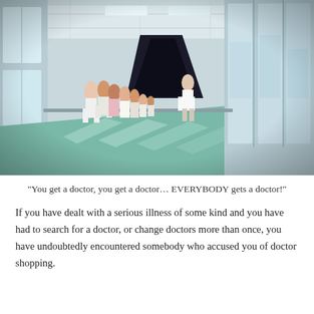[Figure (photo): Hospital corridor with large windows on both sides, teal/green floor, group of people in white coats and medical attire standing along the left wall, one person in white coat walking in the middle distance, light streaming in from windows creating bright patches on the floor.]
“You get a doctor, you get a doctor… EVERYBODY gets a doctor!”
If you have dealt with a serious illness of some kind and you have had to search for a doctor, or change doctors more than once, you have undoubtedly encountered somebody who accused you of doctor shopping.